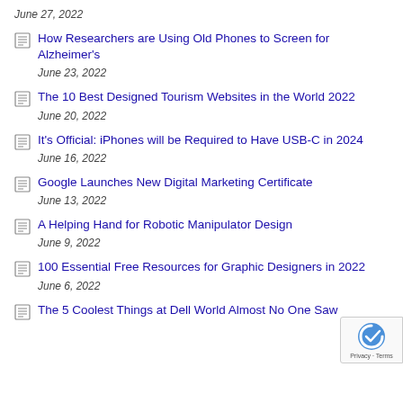June 27, 2022
How Researchers are Using Old Phones to Screen for Alzheimer's
June 23, 2022
The 10 Best Designed Tourism Websites in the World 2022
June 20, 2022
It's Official: iPhones will be Required to Have USB-C in 2024
June 16, 2022
Google Launches New Digital Marketing Certificate
June 13, 2022
A Helping Hand for Robotic Manipulator Design
June 9, 2022
100 Essential Free Resources for Graphic Designers in 2022
June 6, 2022
The 5 Coolest Things at Dell World Almost No One Saw